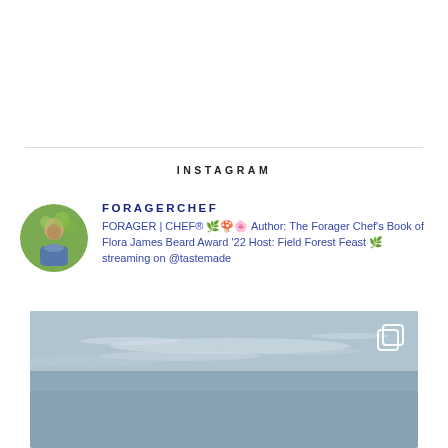INSTAGRAM
FORAGERCHEF
FORAGER | CHEF® 🌿🍄🌸 Author: The Forager Chef's Book of Flora James Beard Award '22 Host: Field Forest Feast 🌿 streaming on @tastemade
[Figure (photo): Sky with clouds, grayish-blue tones, Instagram post thumbnail with copy/multiple-posts icon in top right corner]